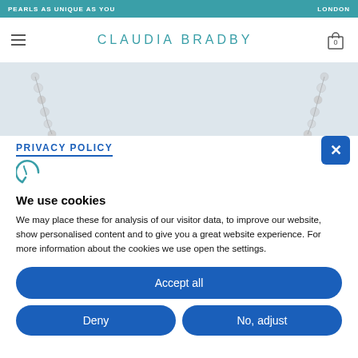PEARLS AS UNIQUE AS YOU ... LONDON
[Figure (logo): Claudia Bradby brand navigation bar with hamburger menu, brand name, and cart icon with 0 items]
[Figure (photo): Pearl necklace strands visible on light blue/grey background]
PRIVACY POLICY
[Figure (logo): Cookie consent tool logo - stylized C/F mark in teal]
We use cookies
We may place these for analysis of our visitor data, to improve our website, show personalised content and to give you a great website experience. For more information about the cookies we use open the settings.
Accept all
Deny
No, adjust